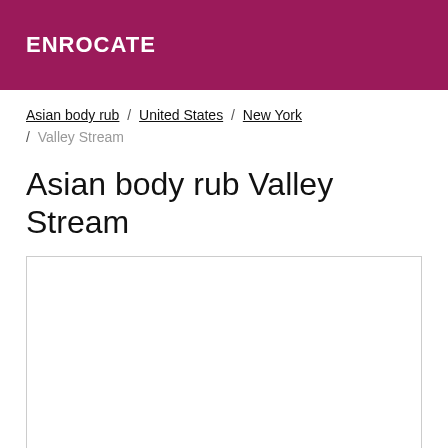ENROCATE
Asian body rub / United States / New York / Valley Stream
Asian body rub Valley Stream
[Figure (other): Empty white content box with border]